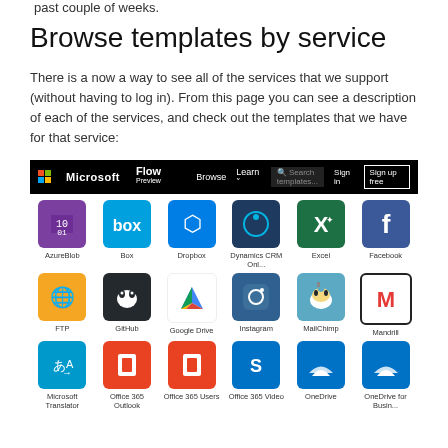past couple of weeks.
Browse templates by service
There is a now a way to see all of the services that we support (without having to log in). From this page you can see a description of each of the services, and check out the templates that we have for that service:
[Figure (screenshot): Screenshot of Microsoft Flow website showing navigation bar and service icons grid including AzureBlob, Box, Dropbox, Dynamics CRM Onl..., Excel, Facebook, FTP, GitHub, Google Drive, Instagram, MailChimp, Mandrill, Microsoft Translator, Office 365 Outlook, Office 365 Users, Office 365 Video, OneDrive, OneDrive for Busin...]